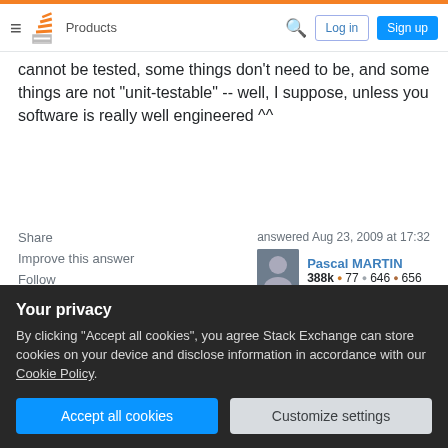≡ [Stack Overflow logo] Products 🔍 Log in Sign up
cannot be tested, some things don't need to be, and some things are not "unit-testable" -- well, I suppose, unless you software is really well engineered ^^
Share | answered Aug 23, 2009 at 17:32 | Pascal MARTIN | 388k • 77 • 646 • 656
Improve this answer
Follow
On the "writing more code" point -- I find that if I have to test my code to high coverage, I end up putting in more thought ahead of time and writing more succinct
Your privacy
By clicking "Accept all cookies", you agree Stack Exchange can store cookies on your device and disclose information in accordance with our Cookie Policy.
Accept all cookies | Customize settings